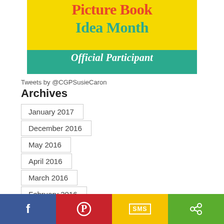[Figure (illustration): Picture Book Idea Month Official Participant badge — yellow background with red/teal serif text and teal banner with white italic text]
Tweets by @CGPSusieCaron
Archives
January 2017
December 2016
May 2016
April 2016
March 2016
February 2016
[Figure (infographic): Social share bar with Facebook (blue), Pinterest (red), SMS (yellow), and Share (green) buttons]